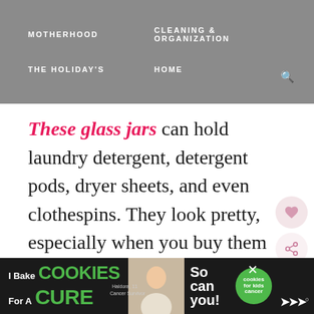MOTHERHOOD   CLEANING & ORGANIZATION   THE HOLIDAY'S   HOME
These glass jars can hold laundry detergent, detergent pods, dryer sheets, and even clothespins. They look pretty, especially when you buy them as a set and use a few of them together.
lots of lifestyle bloggers use them,
[Figure (screenshot): Ad banner: I Bake COOKIES For A CURE - Haldora, 11 Cancer Survivor - So can you! with cookies for kids cancer badge]